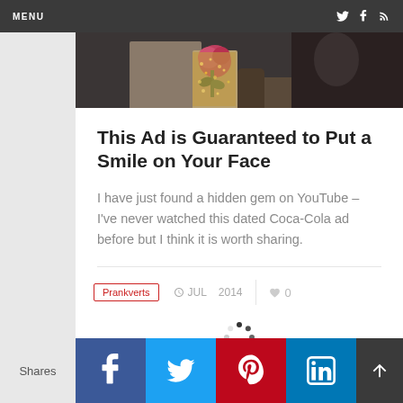MENU
[Figure (photo): Cropped photo showing a person holding a rose flower, partially visible figures in background]
This Ad is Guaranteed to Put a Smile on Your Face
I have just found a hidden gem on YouTube – I've never watched this dated Coca-Cola ad before but I think it is worth sharing.
Prankverts  ©  JULY 2014  ♥ 0
Shares